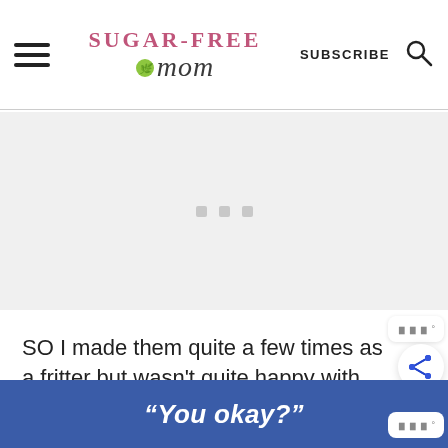Sugar-Free Mom — SUBSCRIBE
[Figure (other): Advertisement placeholder area with three small grey dots in the center]
SO I made them quite a few times as a fritter but wasn't quite happy with how hard it was too cook them in a saute pan and flip them over. Quite flimsy and di...uble
"You okay?"